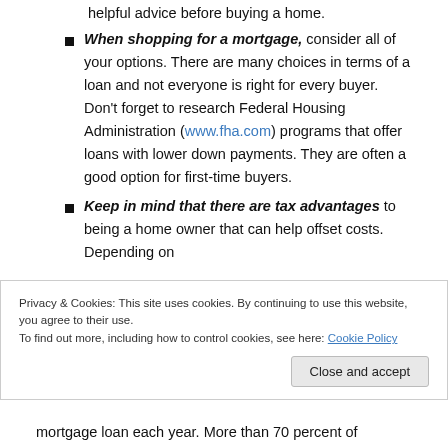helpful advice before buying a home.
When shopping for a mortgage, consider all of your options. There are many choices in terms of a loan and not everyone is right for every buyer. Don't forget to research Federal Housing Administration (www.fha.com) programs that offer loans with lower down payments. They are often a good option for first-time buyers.
Keep in mind that there are tax advantages to being a home owner that can help offset costs. Depending on your specific situation, often the closing costs and...
Privacy & Cookies: This site uses cookies. By continuing to use this website, you agree to their use. To find out more, including how to control cookies, see here: Cookie Policy
mortgage loan each year. More than 70 percent of